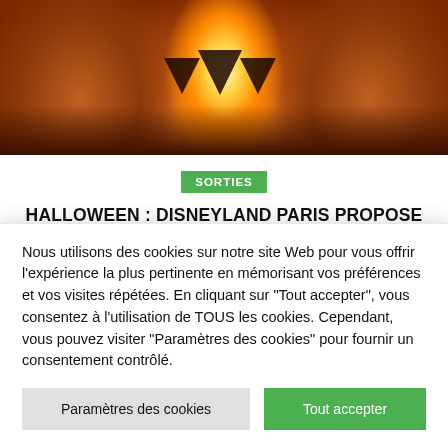[Figure (photo): A Halloween jack-o'-lantern pumpkin with glowing flame inside, orange and dark tones, wood background]
SORTIES
HALLOWEEN : DISNEYLAND PARIS PROPOSE DE NOMBREUSES ACTIVITÉS AUX PETITS ET GRANDS
À l'occasion de la fête d'Halloween, les personnages de Disney invitent les enfants comme les adultes à découvrir un monde
Nous utilisons des cookies sur notre site Web pour vous offrir l'expérience la plus pertinente en mémorisant vos préférences et vos visites répétées. En cliquant sur "Tout accepter", vous consentez à l'utilisation de TOUS les cookies. Cependant, vous pouvez visiter "Paramètres des cookies" pour fournir un consentement contrôlé.
Paramètres des cookies
Tout accepter